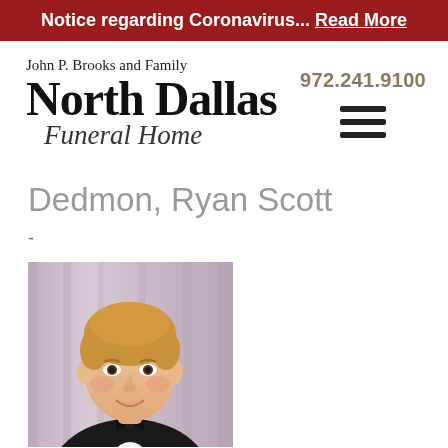Notice regarding Coronavirus... Read More
John P. Brooks and Family
North Dallas
Funeral Home
972.241.9100
Dedmon, Ryan Scott
-
[Figure (photo): Portrait photograph of Ryan Scott Dedmon, a young man with light reddish-blonde hair, smiling, wearing a black tuxedo with a bow tie, against a soft purple/gray curtain background.]